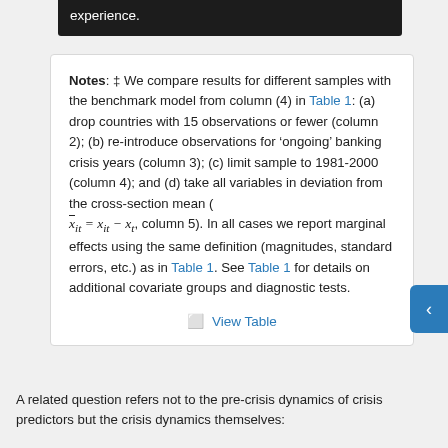[Figure (screenshot): Dark black bar at top showing partial text 'experience.']
Notes: ‡ We compare results for different samples with the benchmark model from column (4) in Table 1: (a) drop countries with 15 observations or fewer (column 2); (b) re-introduce observations for 'ongoing' banking crisis years (column 3); (c) limit sample to 1981-2000 (column 4); and (d) take all variables in deviation from the cross-section mean ( x̄_it = x_it − x_t, column 5). In all cases we report marginal effects using the same definition (magnitudes, standard errors, etc.) as in Table 1. See Table 1 for details on additional covariate groups and diagnostic tests.
View Table
A related question refers not to the pre-crisis dynamics of crisis predictors but the crisis dynamics themselves: